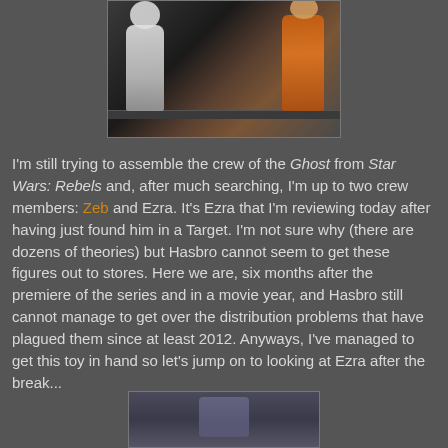[Figure (photo): Photo of two action figures on a shelf: a white stormtrooper figure on the left and an orange-suited figure (Ezra) on the right, against a dark background.]
I'm still trying to assemble the crew of the Ghost from Star Wars: Rebels and, after much searching, I'm up to two crew members: Zeb and Ezra. It's Ezra that I'm reviewing today after having just found him in a Target. I'm not sure why (there are dozens of theories) but Hasbro cannot seem to get these figures out to stores. Here we are, six months after the premiere of the series and in a movie year, and Hasbro still cannot manage to get over the distribution problems that have plagued them since at least 2012. Anyways, I've managed to get this toy in hand so let's jump on to looking at Ezra after the break...
[Figure (photo): Partial photo of an action figure at the bottom of the page, partially visible, appears to be a blue/grey character figure.]